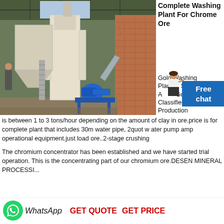[Figure (photo): Industrial washing plant for chrome ore inside a large warehouse/shed. Shows large white industrial machinery including a vertical tower unit, conveyor, and blue motor/pump equipment on a metal frame.]
Complete Washing Plant For Chrome Ore
Gold Washing Plant In South Africa Gumtree Classifieds. Production rate is between 1 to 3 tons/hour depending on the amount of clay in ore.price is for complete plant that includes 30m water pipe, 2quot w ater pump amp operational equipment.just load ore..2-stage crushing
The chromium concentrator has been established and we have started trial operation. This is the concentrating part of our chromium ore.DESEN MINERAL PROCESSI...
[Figure (illustration): WhatsApp green circle logo icon]
WhatsApp
GET QUOTE   GET PRICE